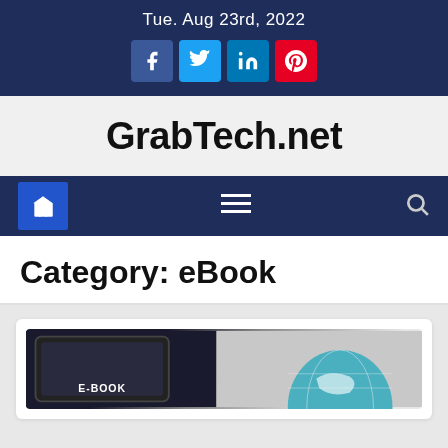Tue. Aug 23rd, 2022
[Figure (logo): Social media icons: Facebook, Twitter, LinkedIn, Pinterest]
GrabTech.net
Navigation bar with home icon, hamburger menu, and search icon
Category: eBook
[Figure (photo): Partial image of an eBook reader device and globe, with text E-BOOK visible]